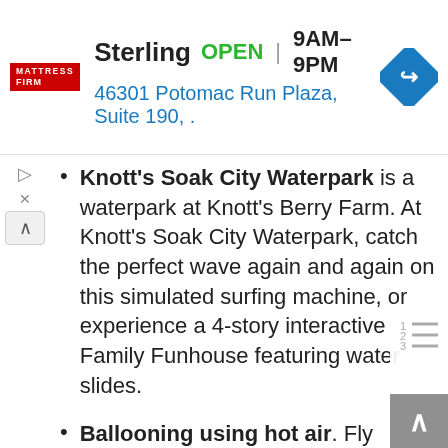[Figure (screenshot): Mattress Firm advertisement banner showing store name Sterling, OPEN status, hours 9AM-9PM, address 46301 Potomac Run Plaza Suite 190, and a blue navigation diamond icon]
Knott's Soak City Waterpark is a waterpark at Knott's Berry Farm. At Knott's Soak City Waterpark, catch the perfect wave again and again on this simulated surfing machine, or experience a 4-story interactive Family Funhouse featuring water slides.
Ballooning using hot air. Fly above the Palm Springs Desert Resort area in a colorful balloon.
Drive along Palm Canyon. Palm Canyon Drive runs through the center of Palm Springs. Discover the stores, galleries, restaurants, and sights that